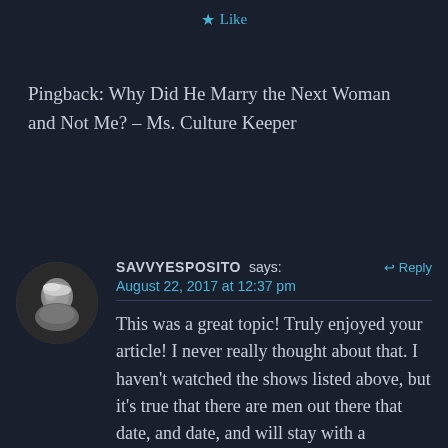★ Like
Pingback: Why Did He Marry the Next Woman and Not Me? – Ms. Culture Keeper
SAVVYESPOSITO says:
August 22, 2017 at 12:37 pm
[Figure (photo): Circular black and white avatar photo of a woman with blonde hair]
This was a great topic! Truly enjoyed your article! I never really thought about that. I haven't watched the shows listed above, but it's true that there are men out there that date, and date, and will stay with a